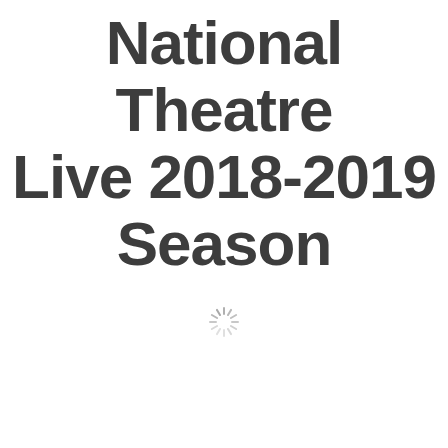National Theatre Live 2018-2019 Season
[Figure (other): A loading spinner icon — a circular burst of short lines radiating from a center point, light gray in color, indicating a loading state.]